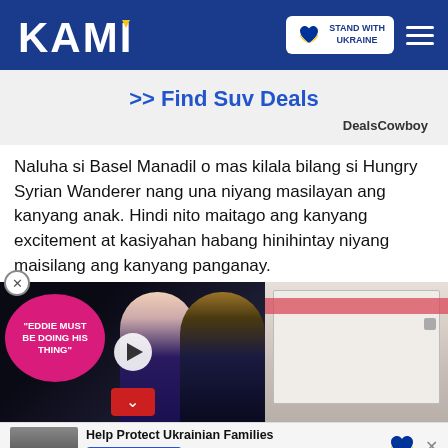KAMI — Stand With Ukraine
[Figure (screenshot): Advertisement banner: >> Find Suv Deals — DealsCowboy]
Naluha si Basel Manadil o mas kilala bilang si Hungry Syrian Wanderer nang una niyang masilayan ang kanyang anak. Hindi nito maitago ang kanyang excitement at kasiyahan habang hinihintay niyang maisilang ang kanyang panganay.
[Figure (screenshot): Video thumbnail with Eddie Murphy couple image and 'EDDIE MUST BE DOING HIS THING' pink bubble text, play button, and street scene thumbnail on the right]
[Figure (screenshot): Help Protect Ukrainian Families – DONATE NOW banner at bottom]